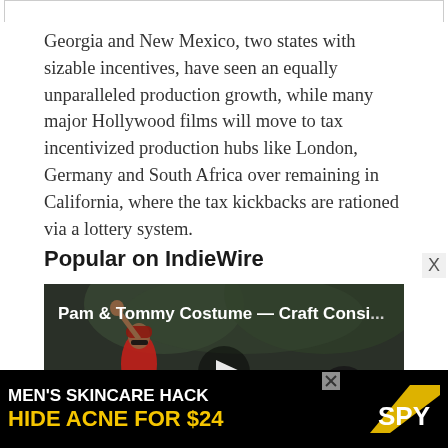Georgia and New Mexico, two states with sizable incentives, have seen an equally unparalleled production growth, while many major Hollywood films will move to tax incentivized production hubs like London, Germany and South Africa over remaining in California, where the tax kickbacks are rationed via a lottery system.
Popular on IndieWire
[Figure (screenshot): Video thumbnail showing a crowd scene with a person in a red jacket and hat raising their hand. Video title overlay reads 'Pam & Tommy Costume — Craft Consi...' with a play button in the center.]
[Figure (screenshot): Advertisement banner: MEN'S SKINCARE HACK HIDE ACNE FOR $24 with SPY logo on black and yellow background.]